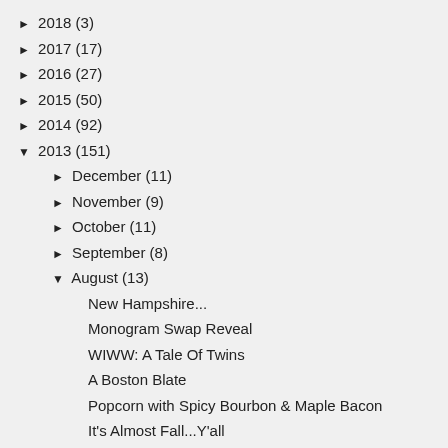► 2018 (3)
► 2017 (17)
► 2016 (27)
► 2015 (50)
► 2014 (92)
▼ 2013 (151)
► December (11)
► November (9)
► October (11)
► September (8)
▼ August (13)
New Hampshire...
Monogram Swap Reveal
WIWW: A Tale Of Twins
A Boston Blate
Popcorn with Spicy Bourbon & Maple Bacon
It's Almost Fall...Y'all
Nudo italia
This is Where I
Basically Food, Wine & Chocolate
No, I don't really have an accent...
Peach & Blueberry Tart
More Vino, Anyone?
Starbucks VS Dunkin & Makin Each Better
► July (18)
► June (15)